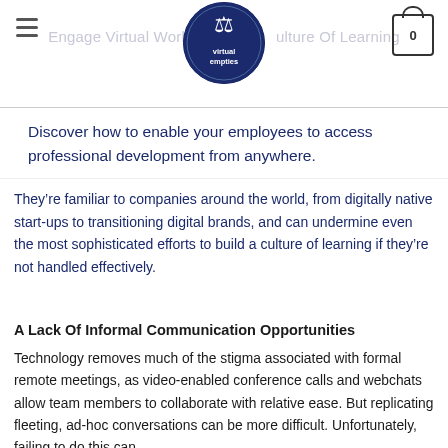Engage Virtual Workers Culture Of Learning
Discover how to enable your employees to access professional development from anywhere.
They’re familiar to companies around the world, from digitally native start-ups to transitioning digital brands, and can undermine even the most sophisticated efforts to build a culture of learning if they’re not handled effectively.
A Lack Of Informal Communication Opportunities
Technology removes much of the stigma associated with formal remote meetings, as video-enabled conference calls and webchats allow team members to collaborate with relative ease. But replicating fleeting, ad-hoc conversations can be more difficult. Unfortunately, failing to do this can